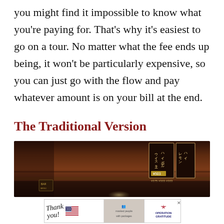you might find it impossible to know what you're paying for. That's why it's easiest to go on a tour. No matter what the fee ends up being, it won't be particularly expensive, so you can just go with the flow and pay whatever amount is on your bill at the end.
The Traditional Version
[Figure (photo): Dark interior of a Japanese bar/izakaya with illuminated drink menu signs in Japanese showing prices like ¥503, ¥375, ¥303. Signs visible for whisky highball and lemon sour drinks.]
[Figure (photo): Advertisement banner showing 'Thank you!' text with US flag graphic, people wearing masks holding packages, Operation Gratitude logo, and weather widget.]